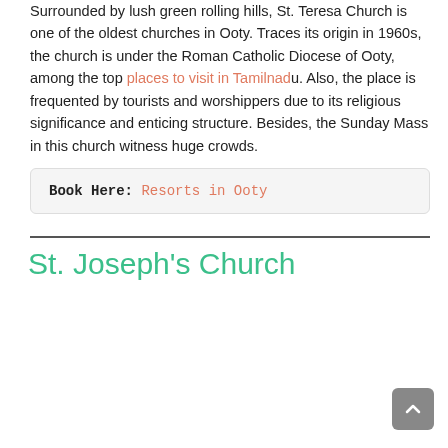Surrounded by lush green rolling hills, St. Teresa Church is one of the oldest churches in Ooty. Traces its origin in 1960s, the church is under the Roman Catholic Diocese of Ooty, among the top places to visit in Tamilnadu. Also, the place is frequented by tourists and worshippers due to its religious significance and enticing structure. Besides, the Sunday Mass in this church witness huge crowds.
Book Here: Resorts in Ooty
St. Joseph's Church